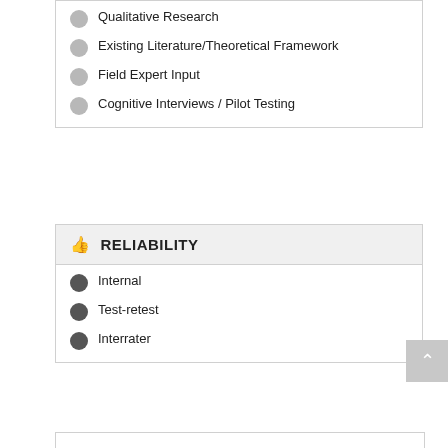Qualitative Research
Existing Literature/Theoretical Framework
Field Expert Input
Cognitive Interviews / Pilot Testing
RELIABILITY
Internal
Test-retest
Interrater